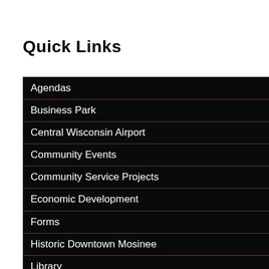Quick Links
Agendas
Business Park
Central Wisconsin Airport
Community Events
Community Service Projects
Economic Development
Forms
Historic Downtown Mosinee
Library
On-Line Services
Public Notices
Schools
TIF No. 3
WI Riverwoods Trail